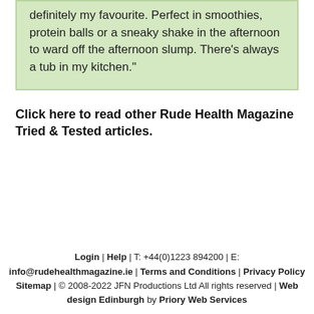definitely my favourite. Perfect in smoothies, protein balls or a sneaky shake in the afternoon to ward off the afternoon slump. There's always a tub in my kitchen."
Click here to read other Rude Health Magazine Tried & Tested articles.
Login | Help | T: +44(0)1223 894200 | E: info@rudehealthmagazine.ie | Terms and Conditions | Privacy Policy
Sitemap | © 2008-2022 JFN Productions Ltd All rights reserved | Web design Edinburgh by Priory Web Services